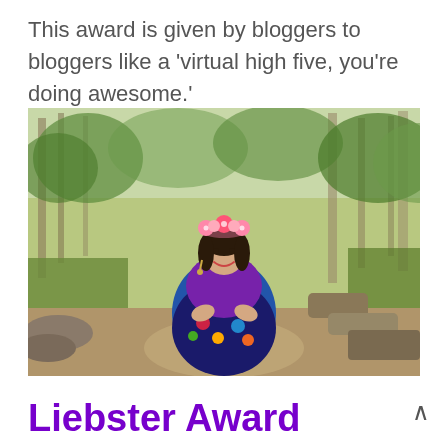This award is given by bloggers to bloggers like a 'virtual high five, you're doing awesome.'
[Figure (photo): A woman wearing a pink flower crown and purple lace top with a colorful floral skirt sits on rocks in an outdoor bush/forest setting with green trees and shrubs in the background.]
Liebster Award